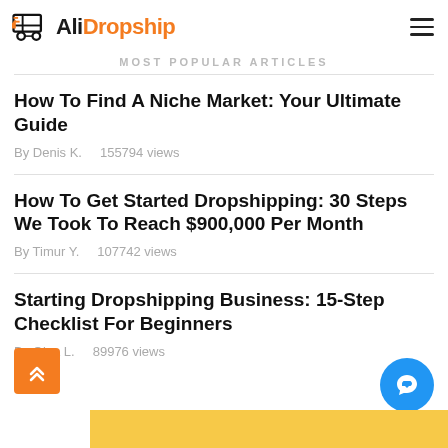AliDropship
MOST POPULAR ARTICLES
How To Find A Niche Market: Your Ultimate Guide
By Denis K.    155794 views
How To Get Started Dropshipping: 30 Steps We Took To Reach $900,000 Per Month
By Timur Y.    107742 views
Starting Dropshipping Business: 15-Step Checklist For Beginners
By Olga L.    89976 views